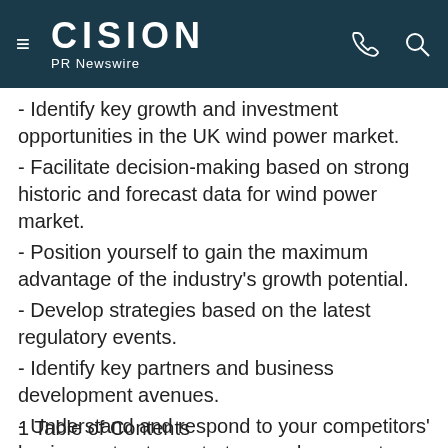CISION PR Newswire
- Identify key growth and investment opportunities in the UK wind power market.
- Facilitate decision-making based on strong historic and forecast data for wind power market.
- Position yourself to gain the maximum advantage of the industry's growth potential.
- Develop strategies based on the latest regulatory events.
- Identify key partners and business development avenues.
- Understand and respond to your competitors' business structure, strategy and prospects.
1 Table of Contents